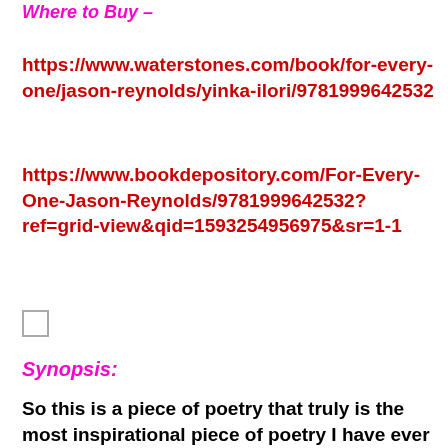Where to Buy –
https://www.waterstones.com/book/for-every-one/jason-reynolds/yinka-ilori/9781999642532
https://www.bookdepository.com/For-Every-One-Jason-Reynolds/9781999642532?ref=grid-view&qid=1593254956975&sr=1-1
[Figure (other): Small empty checkbox/image placeholder]
Synopsis:
So this is a piece of poetry that truly is the most inspirational piece of poetry I have ever read!